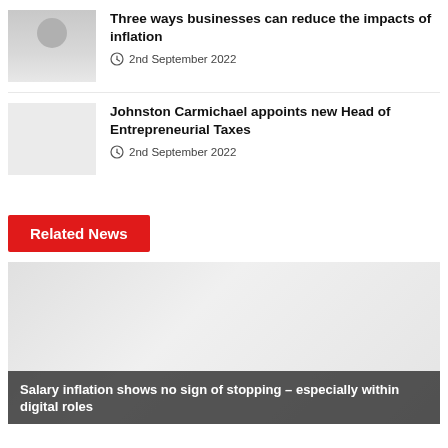[Figure (photo): Thumbnail photo of a person (partially visible, greyed out)]
Three ways businesses can reduce the impacts of inflation
2nd September 2022
[Figure (photo): Thumbnail placeholder image (light grey)]
Johnston Carmichael appoints new Head of Entrepreneurial Taxes
2nd September 2022
Related News
[Figure (photo): Large featured image placeholder (light grey)]
Salary inflation shows no sign of stopping – especially within digital roles